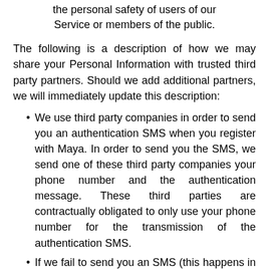the personal safety of users of our Service or members of the public.
The following is a description of how we may share your Personal Information with trusted third party partners. Should we add additional partners, we will immediately update this description:
We use third party companies in order to send you an authentication SMS when you register with Maya. In order to send you the SMS, we send one of these third party companies your phone number and the authentication message. These third parties are contractually obligated to only use your phone number for the transmission of the authentication SMS.
If we fail to send you an SMS (this happens in certain cases) you may ask us resend the sms code on the phone.